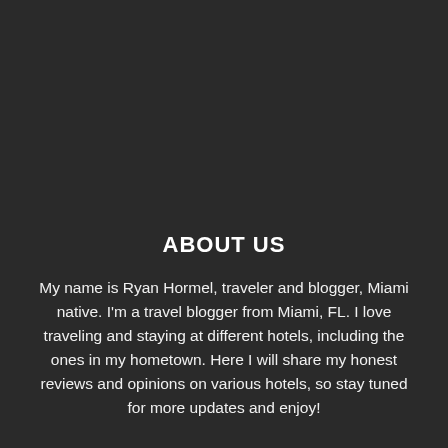ABOUT US
My name is Ryan Hormel, traveler and blogger, Miami native. I'm a travel blogger from Miami, FL. I love traveling and staying at different hotels, including the ones in my hometown. Here I will share my honest reviews and opinions on various hotels, so stay tuned for more updates and enjoy!